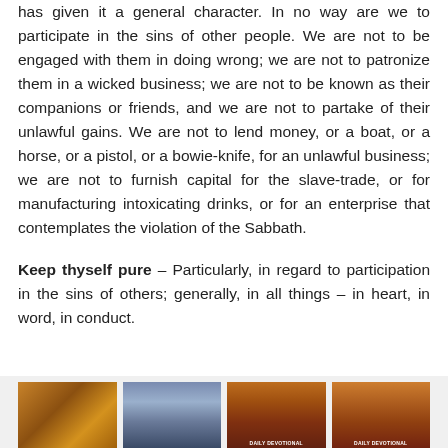has given it a general character. In no way are we to participate in the sins of other people. We are not to be engaged with them in doing wrong; we are not to patronize them in a wicked business; we are not to be known as their companions or friends, and we are not to partake of their unlawful gains. We are not to lend money, or a boat, or a horse, or a pistol, or a bowie-knife, for an unlawful business; we are not to furnish capital for the slave-trade, or for manufacturing intoxicating drinks, or for an enterprise that contemplates the violation of the Sabbath.
Keep thyself pure – Particularly, in regard to participation in the sins of others; generally, in all things – in heart, in word, in conduct.
[Figure (photo): Row of four images at bottom: a cat photo, a photo of people, and two book covers for Daily Devotional]